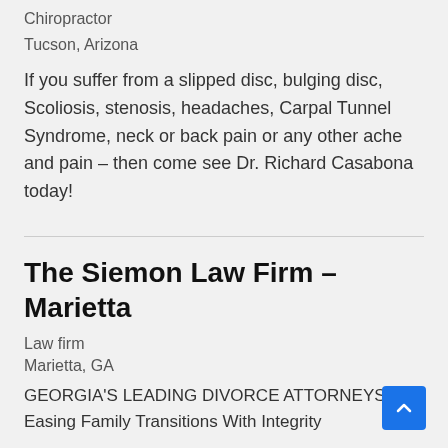Chiropractor
Tucson, Arizona
If you suffer from a slipped disc, bulging disc, Scoliosis, stenosis, headaches, Carpal Tunnel Syndrome, neck or back pain or any other ache and pain – then come see Dr. Richard Casabona today!
The Siemon Law Firm – Marietta
Law firm
Marietta, GA
GEORGIA'S LEADING DIVORCE ATTORNEYS Easing Family Transitions With Integrity